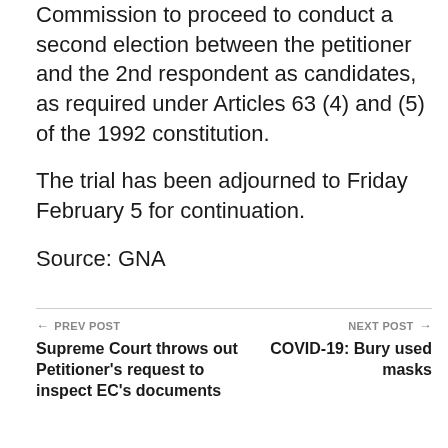Commission to proceed to conduct a second election between the petitioner and the 2nd respondent as candidates, as required under Articles 63 (4) and (5) of the 1992 constitution.
The trial has been adjourned to Friday February 5 for continuation.
Source: GNA
← PREV POST | Supreme Court throws out Petitioner's request to inspect EC's documents | NEXT POST → | COVID-19: Bury used masks